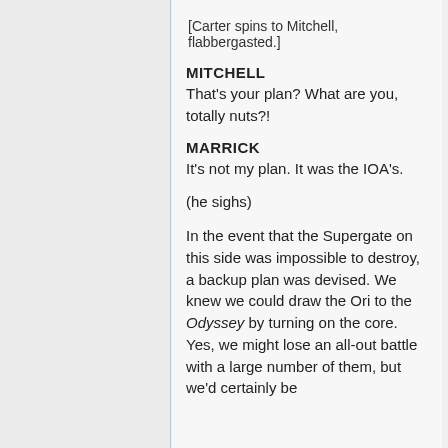[Carter spins to Mitchell, flabbergasted.]
MITCHELL
That's your plan? What are you, totally nuts?!
MARRICK
It's not my plan. It was the IOA's.
(he sighs)
In the event that the Supergate on this side was impossible to destroy, a backup plan was devised. We knew we could draw the Ori to the Odyssey by turning on the core. Yes, we might lose an all-out battle with a large number of them, but we'd certainly be